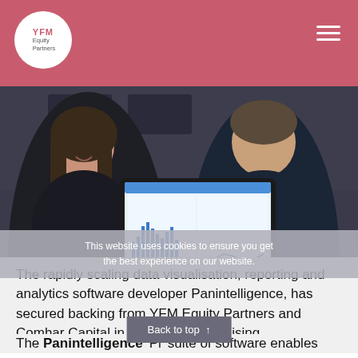YFM Equity Partners
[Figure (photo): Two people holding a laptop showing data visualisation charts — a smiling woman with long hair on the left and a man in a dark sweater on the right.]
This website uses cookies to ensure you get the best experience on our website.
The rapidly scaling data visualisation, reporting and analytics software developer Panintelligence, has secured backing from YFM Equity Partners and Comhar Capital in a Series A fundraising.
The Panintelligence 'Pi' suite of software enables